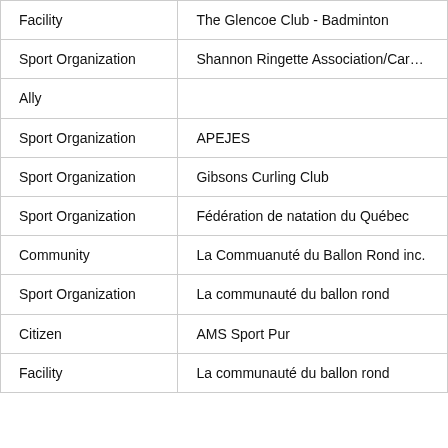| Facility | The Glencoe Club - Badminton |
| Sport Organization | Shannon Ringette Association/Carol W |
| Ally |  |
| Sport Organization | APEJES |
| Sport Organization | Gibsons Curling Club |
| Sport Organization | Fédération de natation du Québec |
| Community | La Commuanuté du Ballon Rond inc. |
| Sport Organization | La communauté du ballon rond |
| Citizen | AMS Sport Pur |
| Facility | La communauté du ballon rond |